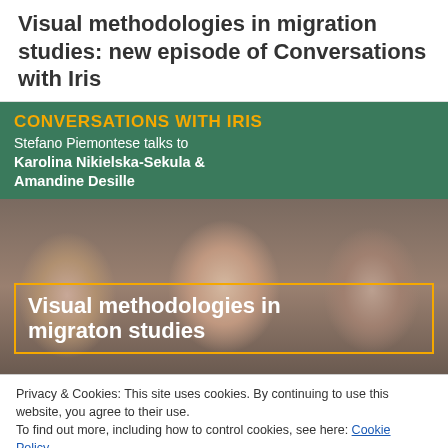Visual methodologies in migration studies: new episode of Conversations with Iris
[Figure (infographic): Conversations with Iris podcast episode 30 card. Orange text 'CONVERSATIONS WITH IRIS' header, subtitle 'Stefano Piemontese talks to Karolina Nikielska-Sekula & Amandine Desille', episode number 30 in orange, photo of three faces, yellow-bordered overlay text 'Visual methodologies in migraton studies']
Privacy & Cookies: This site uses cookies. By continuing to use this website, you agree to their use.
To find out more, including how to control cookies, see here: Cookie Policy
Close and accept
Speaks with Dr Karolina Nikielska-Sekula